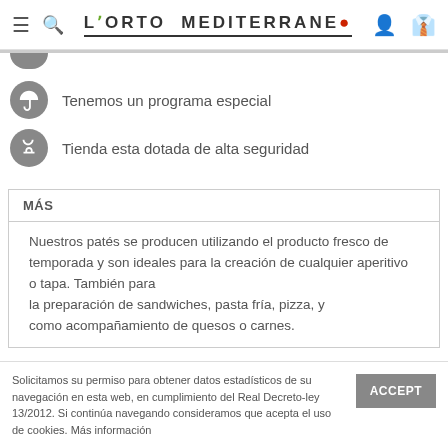L'ORTO MEDITERRANEO
Tenemos un programa especial
Tienda esta dotada de alta seguridad
MÁS
Nuestros patés se producen utilizando el producto fresco de temporada y son ideales para la creación de cualquier aperitivo o tapa. También para la preparación de sandwiches, pasta fría, pizza, y como acompañamiento de quesos o carnes.
Solicitamos su permiso para obtener datos estadísticos de su navegación en esta web, en cumplimiento del Real Decreto-ley 13/2012. Si continúa navegando consideramos que acepta el uso de cookies. Más información